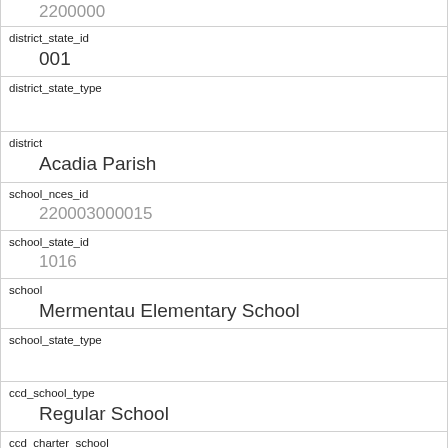| 2200000 (partial) |
| district_state_id | 001 |
| district_state_type |  |
| district | Acadia Parish |
| school_nces_id | 220003000015 |
| school_state_id | 1016 |
| school | Mermentau Elementary School |
| school_state_type |  |
| ccd_school_type | Regular School |
| ccd_charter_school | No |
| ccd_school_lvl | Elementary |